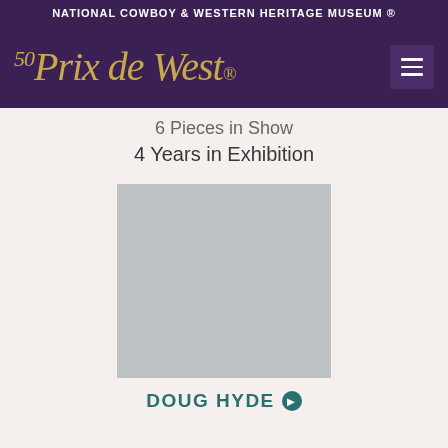NATIONAL COWBOY & WESTERN HERITAGE MUSEUM ®
[Figure (logo): 50th Prix de West logo in gold italic script on dark purple background, with hamburger menu icon on the right]
6 Pieces in Show
4 Years in Exhibition
[Figure (photo): Gray placeholder image for Doug Hyde artwork]
DOUG HYDE ›